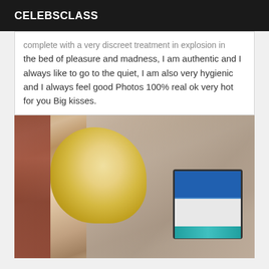CELEBSCLASS
complete with a very discreet treatment in explosion in the bed of pleasure and madness, I am authentic and I always like to go to the quiet, I am also very hygienic and I always feel good Photos 100% real ok very hot for you Big kisses.
[Figure (photo): Person with blonde hair in a ponytail, seen from behind, wearing a pink top, sitting in front of a computer monitor.]